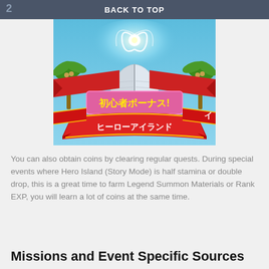BACK TO TOP
[Figure (illustration): Japanese mobile game promotional image showing an open glowing book with swirling light effects, palm trees, red banners with Japanese text reading '初心者ボーナス!' (Beginner Bonus!) and 'ヒーローアイランド' (Hero Island), set against a blue sky background.]
You can also obtain coins by clearing regular quests. During special events where Hero Island (Story Mode) is half stamina or double drop, this is a great time to farm Legend Summon Materials or Rank EXP, you will learn a lot of coins at the same time.
Missions and Event Specific Sources